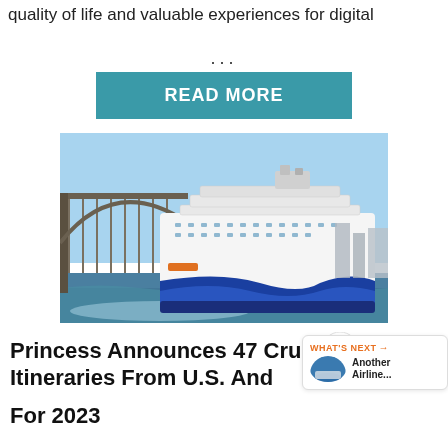quality of life and valuable experiences for digital
...
READ MORE
[Figure (photo): A large white and blue cruise ship sailing in front of a harbour bridge, with blue sky and cityscape in the background.]
Princess Announces 47 Cruise Itineraries From U.S. And For 2023
WHAT'S NEXT → Another Airline...